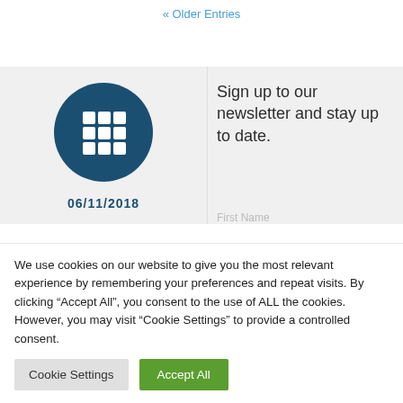« Older Entries
[Figure (illustration): Dark navy circle with a white grid/table icon (3x3 grid of squares) in the center, representing a calendar or table icon]
Sign up to our newsletter and stay up to date.
06/11/2018
First Name
We use cookies on our website to give you the most relevant experience by remembering your preferences and repeat visits. By clicking "Accept All", you consent to the use of ALL the cookies. However, you may visit "Cookie Settings" to provide a controlled consent.
Cookie Settings
Accept All